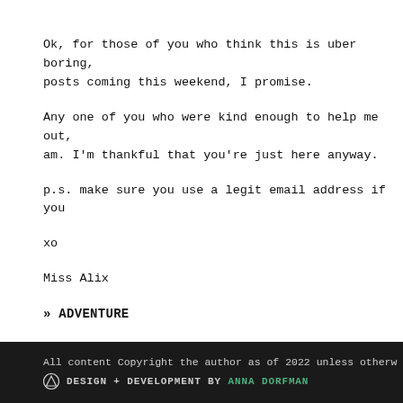Ok, for those of you who think this is uber boring, posts coming this weekend, I promise.
Any one of you who were kind enough to help me out, am. I'm thankful that you're just here anyway.
p.s. make sure you use a legit email address if you
xo
Miss Alix
» ADVENTURE
All content Copyright the author as of 2022 unless otherw DESIGN + DEVELOPMENT BY ANNA DORFMAN